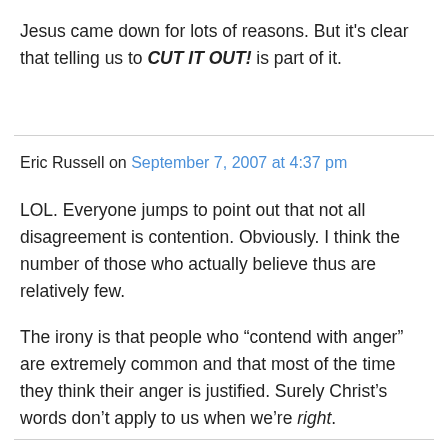Jesus came down for lots of reasons. But it's clear that telling us to CUT IT OUT! is part of it.
Eric Russell on September 7, 2007 at 4:37 pm
LOL. Everyone jumps to point out that not all disagreement is contention. Obviously. I think the number of those who actually believe thus are relatively few.
The irony is that people who “contend with anger” are extremely common and that most of the time they think their anger is justified. Surely Christ’s words don’t apply to us when we’re right.